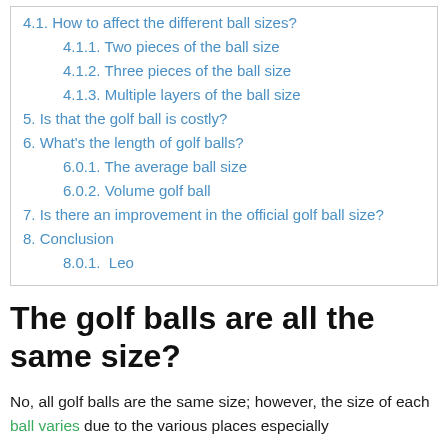4.1. How to affect the different ball sizes?
4.1.1. Two pieces of the ball size
4.1.2. Three pieces of the ball size
4.1.3. Multiple layers of the ball size
5. Is that the golf ball is costly?
6. What's the length of golf balls?
6.0.1. The average ball size
6.0.2. Volume golf ball
7. Is there an improvement in the official golf ball size?
8. Conclusion
8.0.1.  Leo
The golf balls are all the same size?
No, all golf balls are the same size; however, the size of each ball varies due to the various places especially